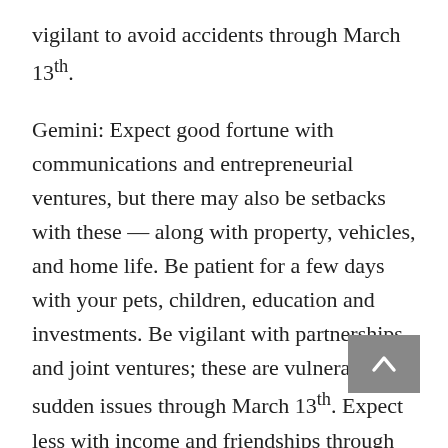vigilant to avoid accidents through March 13th.
Gemini: Expect good fortune with communications and entrepreneurial ventures, but there may also be setbacks with these — along with property, vehicles, and home life. Be patient for a few days with your pets, children, education and investments. Be vigilant with partnerships and joint ventures; these are vulnerable to sudden issues through March 13th. Expect less with income and friendships through mid-April.  There may be losses, expenses and separations with these.
Cancer:  Connect communications and independent projects with partnerships and joint ventures. Be patient for a few days with your career and then expect gains and friendships through mid-April. Be vigilant to manage debts, disputes, health or legal